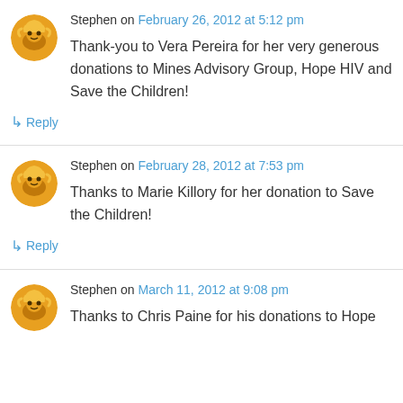Stephen on February 26, 2012 at 5:12 pm
Thank-you to Vera Pereira for her very generous donations to Mines Advisory Group, Hope HIV and Save the Children!
↳ Reply
Stephen on February 28, 2012 at 7:53 pm
Thanks to Marie Killory for her donation to Save the Children!
↳ Reply
Stephen on March 11, 2012 at 9:08 pm
Thanks to Chris Paine for his donations to Hope